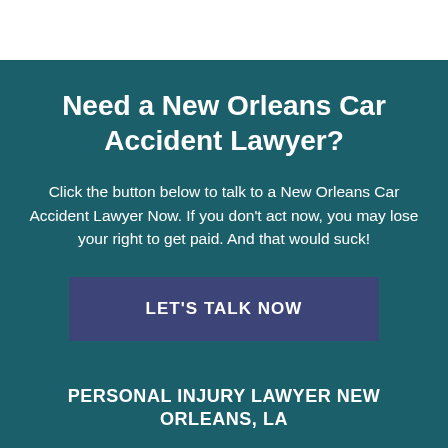Need a New Orleans Car Accident Lawyer?
Click the button below to talk to a New Orleans Car Accident Lawyer Now. If you don’t act now, you may lose your right to get paid. And that would suck!
LET’S TALK NOW
PERSONAL INJURY LAWYER NEW ORLEANS, LA